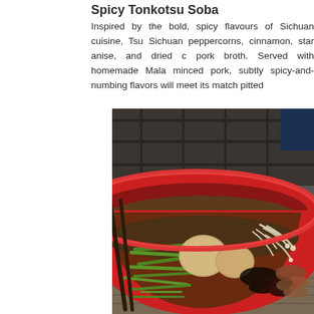Spicy Tonkotsu Soba
Inspired by the bold, spicy flavours of Sichuan cuisine, Tsu Sichuan peppercorns, cinnamon, star anise, and dried c pork broth. Served with homemade Mala minced pork, subtly spicy-and-numbing flavors will meet its match pitted
[Figure (photo): A red bowl of ramen/soba soup with soft-boiled eggs, bean sprouts, chopped green onions, minced pork, and dark mushrooms in a brown broth, photographed close-up on a restaurant table.]